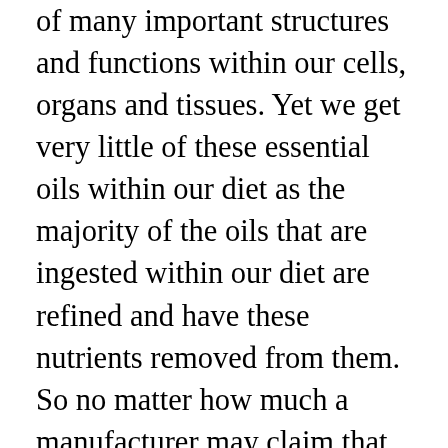of many important structures and functions within our cells, organs and tissues. Yet we get very little of these essential oils within our diet as the majority of the oils that are ingested within our diet are refined and have these nutrients removed from them. So no matter how much a manufacturer may claim that their product is ‘high in polyunsaturates’ or ‘low in saturates’ they are still not healthy as the oils used within their products have usually gone through the process of being chemically treated, bleached, filtered and had artificial